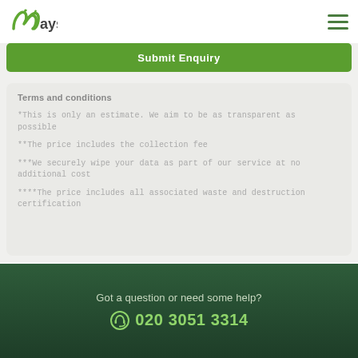Wayst
Submit Enquiry
Terms and conditions
*This is only an estimate. We aim to be as transparent as possible
**The price includes the collection fee
***We securely wipe your data as part of our service at no additional cost
****The price includes all associated waste and destruction certification
Got a question or need some help?
020 3051 3314